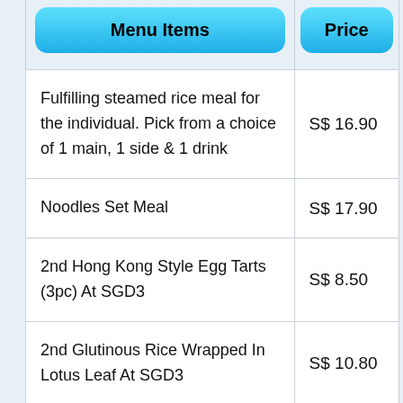| Menu Items | Price |
| --- | --- |
| Fulfilling steamed rice meal for the individual. Pick from a choice of 1 main, 1 side & 1 drink | S$ 16.90 |
| Noodles Set Meal | S$ 17.90 |
| 2nd Hong Kong Style Egg Tarts (3pc) At SGD3 | S$ 8.50 |
| 2nd Glutinous Rice Wrapped In Lotus Leaf At SGD3 | S$ 10.80 |